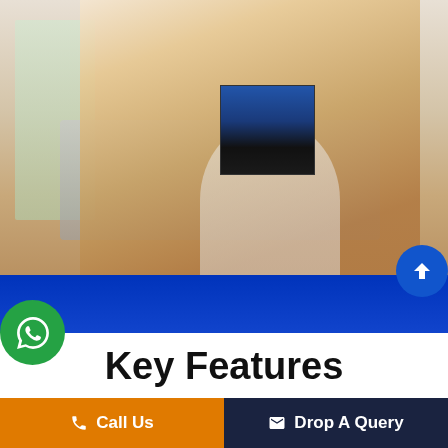[Figure (photo): Young man smiling and typing on a laptop, wearing a beige jacket, with a small inset image on his chest area. Background shows a window and wooden elements.]
Key Features
40 Hours of Live Virtual Training
Call Us
Drop A Query